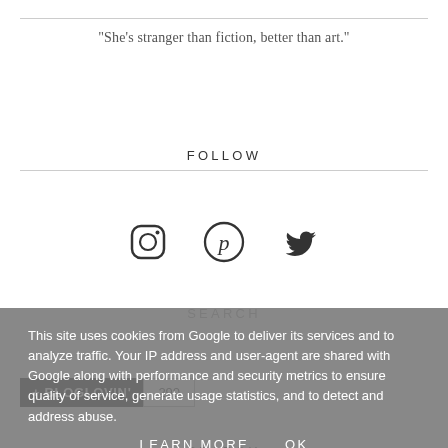"She's stranger than fiction, better than art."
FOLLOW
[Figure (illustration): Three social media icons: Instagram (camera circle), Pinterest (P circle), Twitter (bird)]
[Figure (other): Bloglovin follow button with count: + BLOGLOVIN' | 290]
SEARCH
This site uses cookies from Google to deliver its services and to analyze traffic. Your IP address and user-agent are shared with Google along with performance and security metrics to ensure quality of service, generate usage statistics, and to detect and address abuse.
LEARN MORE   OK